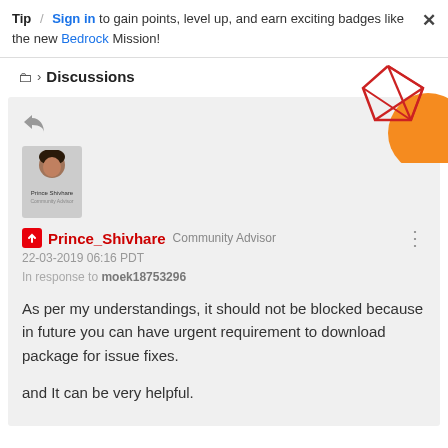Tip / Sign in to gain points, level up, and earn exciting badges like the new Bedrock Mission!
Discussions
[Figure (illustration): Decorative geometric graphic with red lines forming diamond/polygon shapes and an orange circle in the top-right corner of the page.]
[Figure (illustration): Reply arrow icon (curved arrow pointing left).]
[Figure (photo): User avatar photo of Prince_Shivhare showing a person with dark hair, with username text below.]
Prince_Shivhare Community Advisor
22-03-2019 06:16 PDT
In response to moek18753296
As per my understandings, it should not be blocked because in future you can have urgent requirement to download package for issue fixes.

and It can be very helpful.